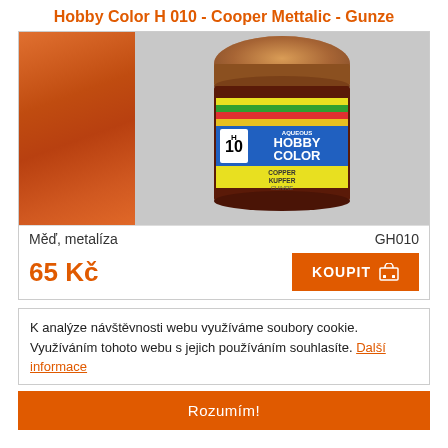Hobby Color H 010 - Cooper Mettalic - Gunze
[Figure (photo): Product photo showing a paint color swatch (copper metallic orange) on the left and a jar of Aqueous Hobby Color paint labeled H10 COPPER/KUPFER/CUIVRE by Gunze on the right, against a grey background.]
Měď, metalíza
GH010
65 Kč
KOUPIT
K analýze návštěvnosti webu využíváme soubory cookie. Využíváním tohoto webu s jejich používáním souhlasíte. Další informace
Rozumím!